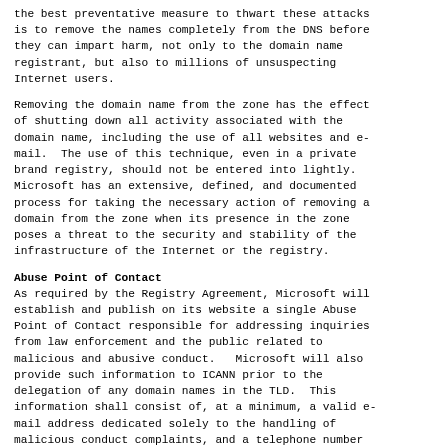the best preventative measure to thwart these attacks is to remove the names completely from the DNS before they can impart harm, not only to the domain name registrant, but also to millions of unsuspecting Internet users.
Removing the domain name from the zone has the effect of shutting down all activity associated with the domain name, including the use of all websites and e-mail.  The use of this technique, even in a private brand registry, should not be entered into lightly. Microsoft has an extensive, defined, and documented process for taking the necessary action of removing a domain from the zone when its presence in the zone poses a threat to the security and stability of the infrastructure of the Internet or the registry.
Abuse Point of Contact
As required by the Registry Agreement, Microsoft will establish and publish on its website a single Abuse Point of Contact responsible for addressing inquiries from law enforcement and the public related to malicious and abusive conduct.  Microsoft will also provide such information to ICANN prior to the delegation of any domain names in the TLD.  This information shall consist of, at a minimum, a valid e-mail address dedicated solely to the handling of malicious conduct complaints, and a telephone number and mailing address for the primary contact. We will ensure that this information is kept accurate and up to date, and will be provided to ICANN if and when the